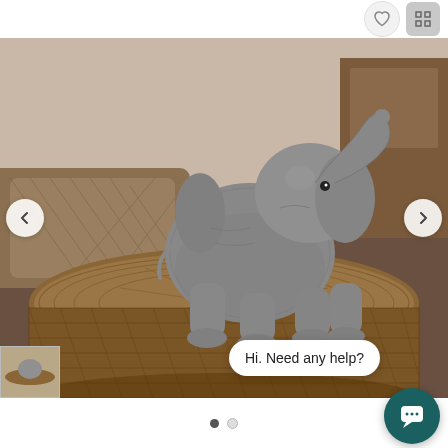[Figure (photo): Product image of a baby elephant figurine/sculpture standing on top of a round wicker/rattan side table. The elephant statue is gray and detailed with a raised trunk. Warm background with soft furniture. Image carousel with left and right navigation arrows. Chat bubble overlay reads 'Hi. Need any help?' with a teal chat icon button in the bottom right.]
Hi. Need any help?